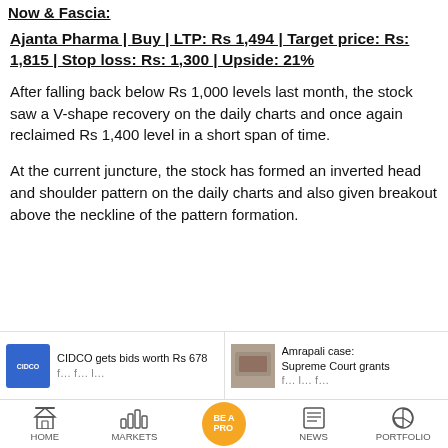Now & Fascia:
Ajanta Pharma | Buy | LTP: Rs 1,494 | Target price: Rs: 1,815 | Stop loss: Rs: 1,300 | Upside: 21%
After falling back below Rs 1,000 levels last month, the stock saw a V-shape recovery on the daily charts and once again reclaimed Rs 1,400 level in a short span of time.
At the current juncture, the stock has formed an inverted head and shoulder pattern on the daily charts and also given breakout above the neckline of the pattern formation.
[Figure (screenshot): Bottom news ticker showing two news cards: 'CIDCO gets bids worth Rs 678 ...' and 'Amrapali case: Supreme Court grants ...']
HOME   MARKETS   BE A PRO   NEWS   PORTFOLIO